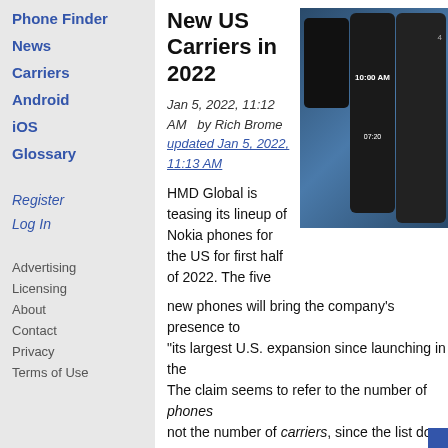Phone Finder
News
Carriers
Android
iOS
Glossary
Register
Log In
Advertising
Licensing
About
Contact
Privacy
Terms of Use
New US Carriers in 2022
Jan 5, 2022, 11:12 AM  by Rich Brome  updated Jan 5, 2022, 11:13 AM
[Figure (photo): Nokia phones lineup including a flip phone and two tall smartphones on a blue background, showing 10:00 AM and 07:20 on screens]
HMD Global is teasing its lineup of Nokia phones for the US for first half of 2022. The five new phones will bring the company's presence to "its largest U.S. expansion since launching in the. The claim seems to refer to the number of phones, not the number of carriers, since the list does not AT&T, and Cricket. Instead, Nokia will launch new Consumer Cellular, while keeping T-Mobile, Metro two phones to launch (in the first quarter) will be t Flip 4G feature phone for $79, and the Nokia C1 second quarter, the Nokia G400 will be the comp will offered by T-Mobile and/or Metro, TracFone, Cellular. It has an MSRP of just $239. The compa G100 4G phones to US carriers in Q2, for $119 a further details are being withheld until closer to la